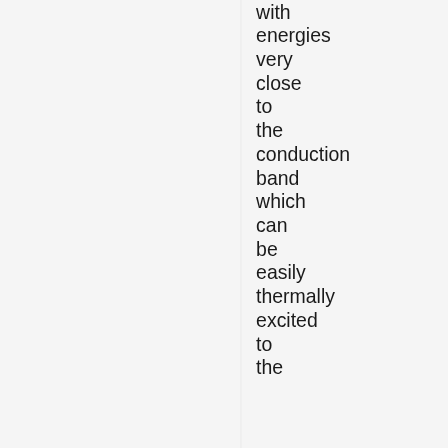with energies very close to the conduction band which can be easily thermally excited to the